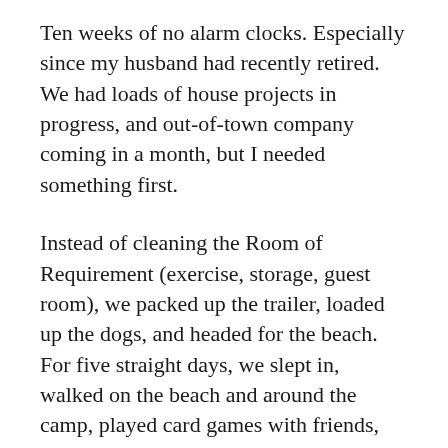Ten weeks of no alarm clocks. Especially since my husband had recently retired. We had loads of house projects in progress, and out-of-town company coming in a month, but I needed something first.
Instead of cleaning the Room of Requirement (exercise, storage, guest room), we packed up the trailer, loaded up the dogs, and headed for the beach. For five straight days, we slept in, walked on the beach and around the camp, played card games with friends, and took naps. We savored the cool ocean breeze, knowing it would be up in the 100s when we got home.
It took a few days, but I started to feel normal